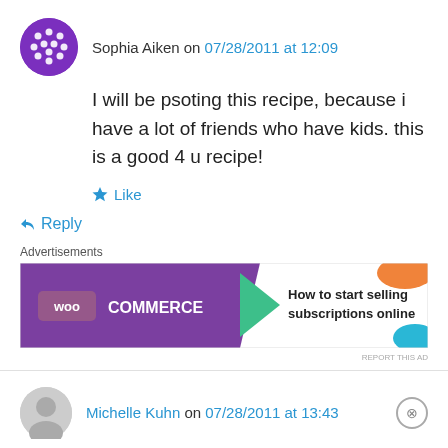Sophia Aiken on 07/28/2011 at 12:09
I will be psoting this recipe, because i have a lot of friends who have kids. this is a good 4 u recipe!
★ Like
↳ Reply
Advertisements
[Figure (screenshot): WooCommerce ad: How to start selling subscriptions online]
REPORT THIS AD
Michelle Kuhn on 07/28/2011 at 13:43
Advertisements
[Figure (screenshot): DuckDuckGo ad: Search, browse, and email with more privacy. All in One Free App]
REPORT THIS AD